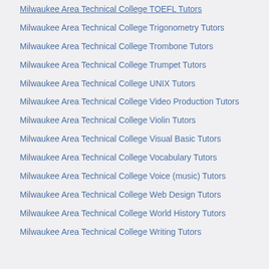Milwaukee Area Technical College TOEFL Tutors
Milwaukee Area Technical College Trigonometry Tutors
Milwaukee Area Technical College Trombone Tutors
Milwaukee Area Technical College Trumpet Tutors
Milwaukee Area Technical College UNIX Tutors
Milwaukee Area Technical College Video Production Tutors
Milwaukee Area Technical College Violin Tutors
Milwaukee Area Technical College Visual Basic Tutors
Milwaukee Area Technical College Vocabulary Tutors
Milwaukee Area Technical College Voice (music) Tutors
Milwaukee Area Technical College Web Design Tutors
Milwaukee Area Technical College World History Tutors
Milwaukee Area Technical College Writing Tutors